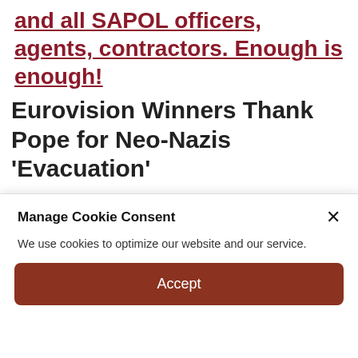and all SAPOL officers, agents, contractors. Enough is enough!
Eurovision Winners Thank Pope for Neo-Nazis 'Evacuation'
TruthPeep | Australian News, RT News, State Of Affairs, war
May 19, 2022  RT News, State Of Affairs, war  0 Comment
Manage Cookie Consent
We use cookies to optimize our website and our service.
Accept